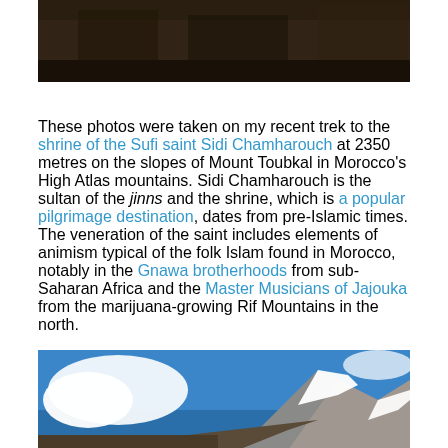[Figure (photo): Top portion of a dark mountain photo cropped at the top of the page]
These photos were taken on my recent trek to the shrine of the Sufi saint Sidi Chamharouch at 2350 metres on the slopes of Mount Toubkal in Morocco's High Atlas mountains. Sidi Chamharouch is the sultan of the jinns and the shrine, which is a popular pilgrimage destination, dates from pre-Islamic times. The veneration of the saint includes elements of animism typical of the folk Islam found in Morocco, notably in the Gnawa brotherhoods from sub-Saharan Africa and the Master Musicians of Jajouka from the marijuana-growing Rif Mountains in the north.
[Figure (photo): Snow-capped mountain peaks with blue sky and clouds, Mount Toubkal area in Morocco's High Atlas mountains]